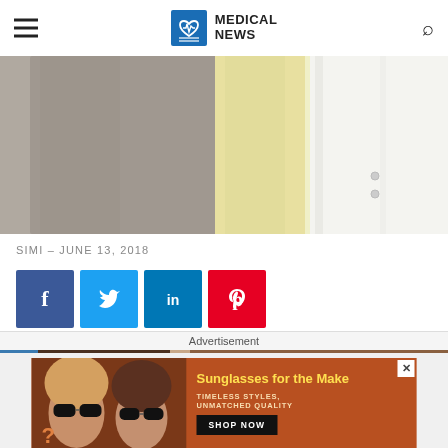MEDICAL NEWS
[Figure (photo): Close-up of hanging shirts: a gray shirt on the left and a yellow/white dress shirt on the right with visible buttons.]
SIMI - JUNE 13, 2018
[Figure (infographic): Social share buttons: Facebook (blue), Twitter (light blue), LinkedIn (dark blue), Pinterest (red)]
[Figure (photo): Partial image of people wearing sunglasses, partially cut off at bottom of page.]
Advertisement
[Figure (photo): Advertisement banner: Sunglasses for the Make - Timeless Styles, Unmatched Quality - Shop Now button. Shows two women wearing sunglasses.]